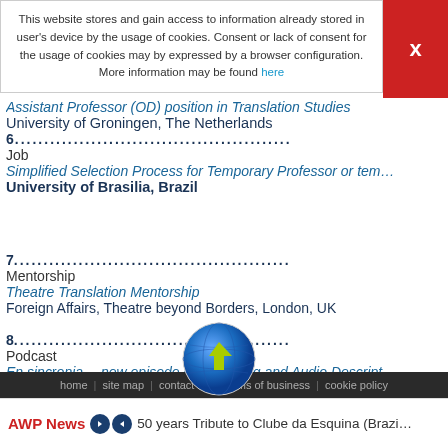This website stores and gain access to information already stored in user's device by the usage of cookies. Consent or lack of consent for the usage of cookies may by expressed by a browser configuration. More information may be found here
6. Job — Simplified Selection Process for Temporary Professor or ter... — University of Brasilia, Brazil
7. Mentorship — Theatre Translation Mentorship — Foreign Affairs, Theatre beyond Borders, London, UK
8. Podcast — En sinc... new episode on Subtitling and Audio Descript...
9. Summer School — Applied English, Translation & Interpreting Summer School — Heriot-Watt University, Edinburgh, UK
home | site map | contact us | terms of business | cookie policy
AWP News  50 years Tribute to Clube da Esquina (Brazi...